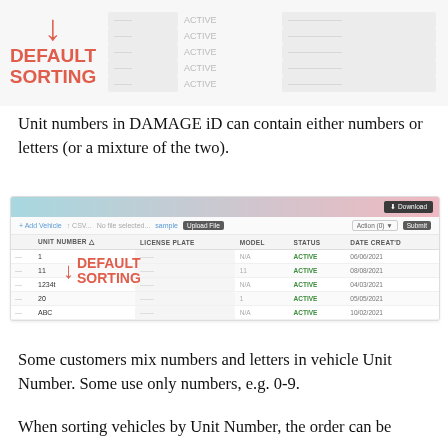[Figure (screenshot): Top cropped screenshot showing a table with DEFAULT SORTING annotation arrow in red pointing downward]
Unit numbers in DAMAGE iD can contain either numbers or letters (or a mixture of the two).
[Figure (screenshot): Screenshot of DAMAGE iD vehicle list interface showing Unit Number table with columns: Unit Number, License Plate, Model, Status, Date Created. Rows show entries: 1, 11, 1234t, 20, ABC. A red arrow labeled DEFAULT SORTING overlays the table.]
Some customers mix numbers and letters in vehicle Unit Number. Some use only numbers, e.g. 0-9.
When sorting vehicles by Unit Number, the order can be